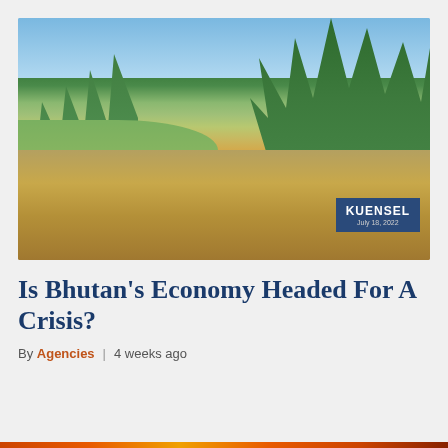[Figure (photo): Farmers working in rice paddies or agricultural fields in Bhutan, with green mountains and trees in the background under a partly cloudy sky. A Kuensel newspaper watermark badge is visible in the lower right corner with date July 18, 2022.]
Is Bhutan's Economy Headed For A Crisis?
By Agencies | 4 weeks ago